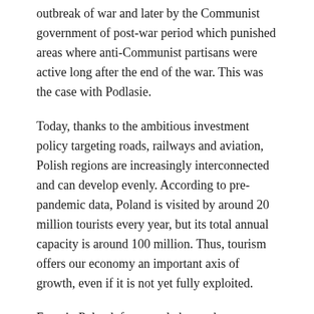outbreak of war and later by the Communist government of post-war period which punished areas where anti-Communist partisans were active long after the end of the war. This was the case with Podlasie.
Today, thanks to the ambitious investment policy targeting roads, railways and aviation, Polish regions are increasingly interconnected and can develop evenly. According to pre-pandemic data, Poland is visited by around 20 million tourists every year, but its total annual capacity is around 100 million. Thus, tourism offers our economy an important axis of growth, even if it is not yet fully exploited.
Even in Poland, few people know that Ogrodzieniec Castle, which belonged to the Boner family of merchants and bankers, had the ambition to compete with Wawel Castle. The reconstructed castles in the highlands of Krakow-Częstochowa which are on par with Krzyżtopór Castle, should serve as a globally recognized